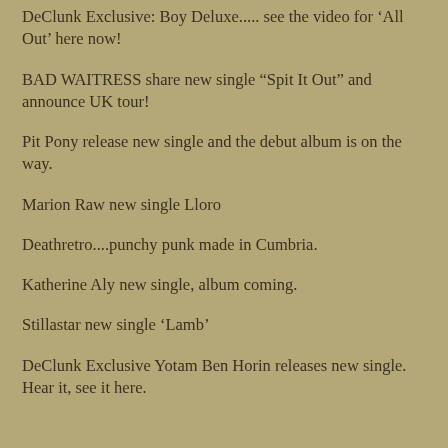DeClunk Exclusive: Boy Deluxe..... see the video for ‘All Out’ here now!
BAD WAITRESS share new single “Spit It Out” and announce UK tour!
Pit Pony release new single and the debut album is on the way.
Marion Raw new single Lloro
Deathretro....punchy punk made in Cumbria.
Katherine Aly new single, album coming.
Stillastar new single ‘Lamb’
DeClunk Exclusive Yotam Ben Horin releases new single. Hear it, see it here.